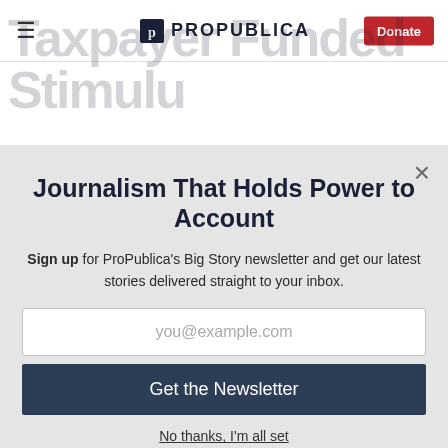ProPublica — Taxpayer Funded Stimulus Checks During the Pandemic
Journalism That Holds Power to Account
Sign up for ProPublica's Big Story newsletter and get our latest stories delivered straight to your inbox.
you@example.com
Get the Newsletter
No thanks, I'm all set
This site is protected by reCAPTCHA and the Google Privacy Policy and Terms of Service apply.